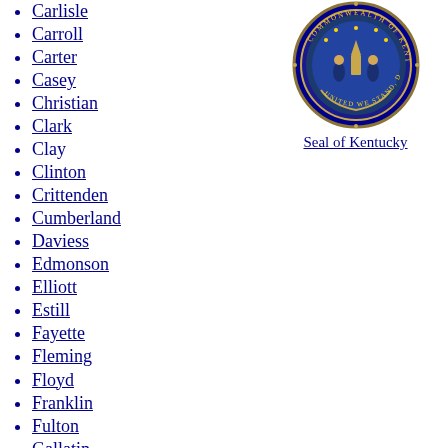Carlisle
Carroll
Carter
Casey
Christian
Clark
Clay
Clinton
Crittenden
Cumberland
Daviess
Edmonson
Elliott
Estill
Fayette
Fleming
Floyd
Franklin
Fulton
Gallatin
Garrard
Grant
Graves
Grayson
Green
Greenup
[Figure (logo): Seal of Kentucky circular emblem with blue border and gold details]
Seal of Kentucky